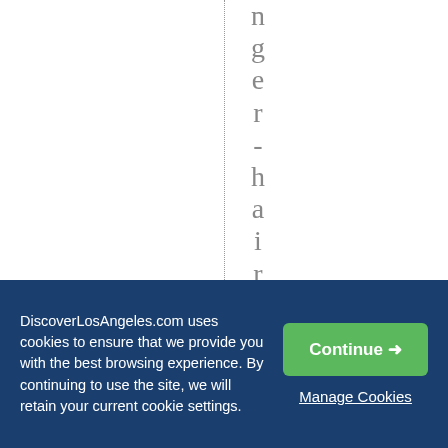nger-haired" ltGir
DiscoverLosAngeles.com uses cookies to ensure that we provide you with the best browsing experience. By continuing to use the site, we will retain your current cookie settings.
Continue →
Manage Cookies